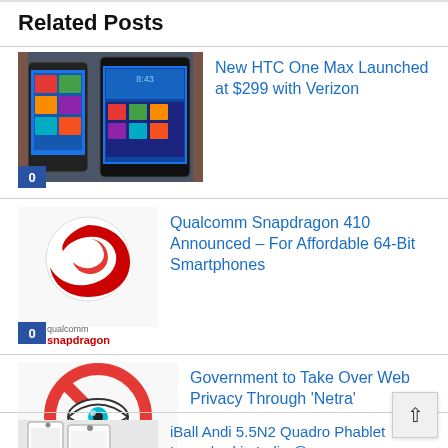Related Posts
[Figure (photo): Thumbnail of HTC One Max smartphones]
New HTC One Max Launched at $299 with Verizon
[Figure (logo): Qualcomm Snapdragon logo with red swoosh icon]
Qualcomm Snapdragon 410 Announced – For Affordable 64-Bit Smartphones
[Figure (illustration): No-surveillance icon: eye with red prohibition circle]
Government to Take Over Web Privacy Through 'Netra'
[Figure (photo): iBall Andi 5.5N2 Quadro Phablet phone thumbnail]
iBall Andi 5.5N2 Quadro Phablet Launched in India @ Rs 14,999